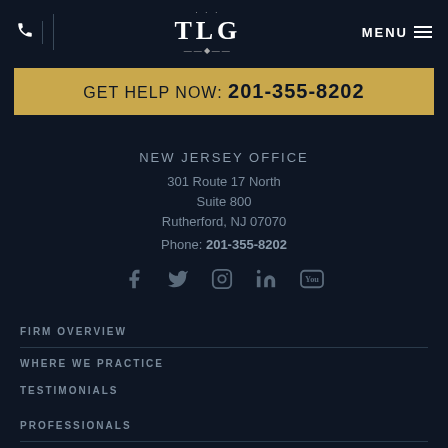TLG | MENU
GET HELP NOW: 201-355-8202
NEW JERSEY OFFICE
301 Route 17 North
Suite 800
Rutherford, NJ 07070
Phone: 201-355-8202
[Figure (infographic): Social media icons: Facebook, Twitter, Instagram, LinkedIn, YouTube]
FIRM OVERVIEW
WHERE WE PRACTICE
TESTIMONIALS
PROFESSIONALS